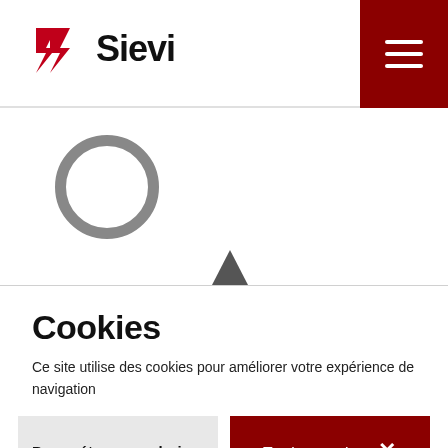[Figure (logo): Sievi brand logo with red angular arrow/chevron icon and bold black 'Sievi' text]
[Figure (other): Dark red hamburger menu icon (three white horizontal lines) on dark red background square, top-right navigation]
[Figure (other): Partial screenshot background area with a grey circle ring and a dark angular shoe shape at the bottom]
Cookies
Ce site utilise des cookies pour améliorer votre expérience de navigation
Paramétrer vos choix +
Tout accepter ×